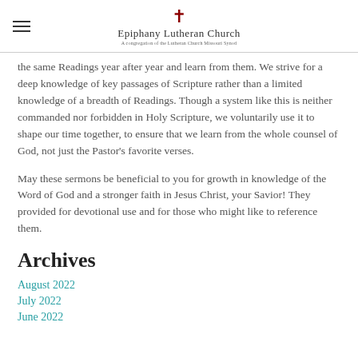Epiphany Lutheran Church
the same Readings year after year and learn from them.  We strive for a deep knowledge of key passages of Scripture rather than a limited knowledge of a breadth of Readings.  Though a system like this is neither commanded nor forbidden in Holy Scripture, we voluntarily use it to shape our time together, to ensure that we learn from the whole counsel of God, not just the Pastor's favorite verses.
May these sermons be beneficial to you for growth in knowledge of the Word of God and a stronger faith in Jesus Christ, your Savior!  They provided for devotional use and for those who might like to reference them.
Archives
August 2022
July 2022
June 2022